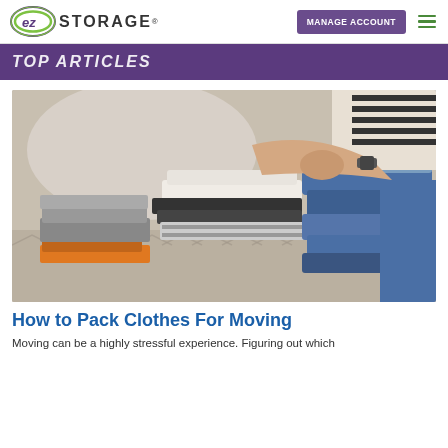EZ STORAGE - MANAGE ACCOUNT
TOP ARTICLES
[Figure (photo): Person folding and stacking clothes — piles of folded jeans, t-shirts, and various garments on a patterned surface]
How to Pack Clothes For Moving
Moving can be a highly stressful experience. Figuring out which